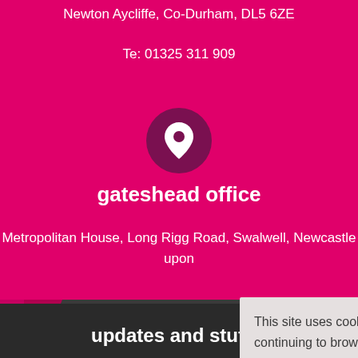Newton Aycliffe, Co-Durham, DL5 6ZE
Te: 01325 311 909
[Figure (illustration): White map pin / location marker icon inside a dark magenta circle]
gateshead office
Metropolitan House, Long Rigg Road, Swalwell, Newcastle upon...
Te:...
there are many diffe... your we...
This site uses cookies. By continuing to browse this site you are agreeing to our use of cookies. Find out more here.
updates and stuff...